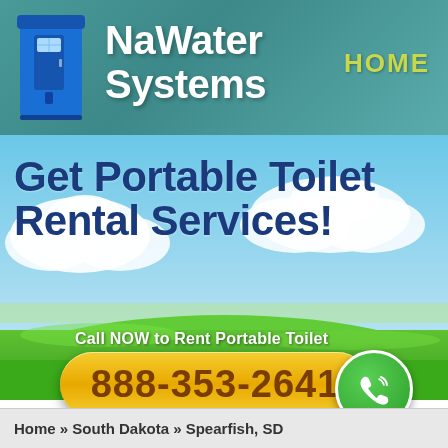[Figure (logo): Blue portable toilet unit illustration in the header]
NaWater Systems
HOME
[Figure (photo): Outdoor landscape with blue sky, white clouds, and green grass field]
Get Portable Toilet Rental Services!
Call NOW to Rent Portable Toilet
888-353-2641
Home » South Dakota » Spearfish, SD